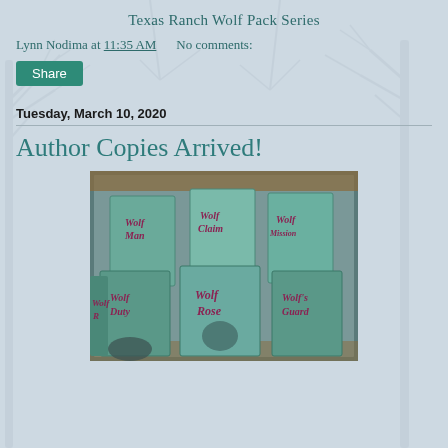Texas Ranch Wolf Pack Series
Lynn Nodima at 11:35 AM   No comments:
Share
Tuesday, March 10, 2020
Author Copies Arrived!
[Figure (photo): A cardboard box filled with multiple copies of books from the Texas Ranch Wolf Pack Series, including titles Wolf Man, Wolf Claim, Wolf Mission, Wolf Duty, Wolf Rose, and Wolf Guard, with illustrated covers showing wolves, ravens, and male figures.]